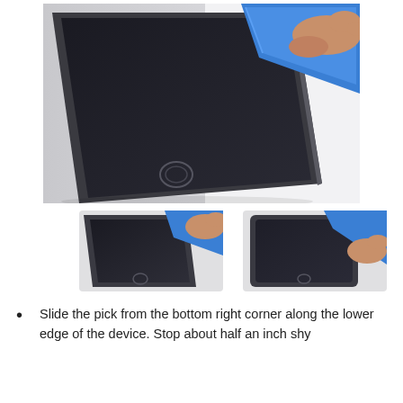[Figure (photo): Large photo showing a blue plastic opening pick/spudger being held by a hand and inserted at the upper right corner of a tablet (iPad), separating the screen from the body. The tablet shows a dark screen with a home button visible.]
[Figure (photo): Thumbnail photo showing a blue plastic pick at the corner of a tablet device with the home button visible at the bottom.]
[Figure (photo): Thumbnail photo showing a hand pressing a blue plastic pick along the lower edge of a tablet device, with the home button visible.]
Slide the pick from the bottom right corner along the lower edge of the device. Stop about half an inch shy